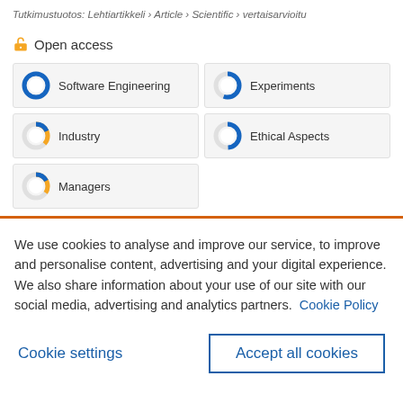Tutkimustuotos: Lehtiartikkeli › Article › Scientific › vertaisarvioitu
Open access
[Figure (infographic): Five fingerprint donut chart badges: Software Engineering (full blue), Experiments (half blue), Industry (quarter blue/orange), Ethical Aspects (half blue), Managers (quarter blue/orange)]
We use cookies to analyse and improve our service, to improve and personalise content, advertising and your digital experience. We also share information about your use of our site with our social media, advertising and analytics partners. Cookie Policy
Cookie settings
Accept all cookies